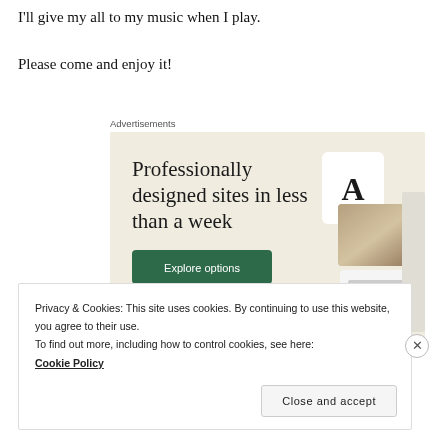I'll give my all to my music when I play.

Please come and enjoy it!
Advertisements
[Figure (screenshot): Website advertisement for professionally designed sites. Beige background with text 'Professionally designed sites in less than a week', a green 'Explore options' button, and mockup screenshots of web pages.]
Privacy & Cookies: This site uses cookies. By continuing to use this website, you agree to their use.
To find out more, including how to control cookies, see here:
Cookie Policy
Close and accept